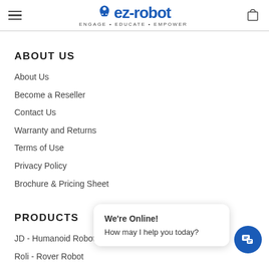ez-robot ENGAGE • EDUCATE • EMPOWER
ABOUT US
About Us
Become a Reseller
Contact Us
Warranty and Returns
Terms of Use
Privacy Policy
Brochure & Pricing Sheet
PRODUCTS
JD - Humanoid Robot
Roli - Rover Robot
We're Online! How may I help you today?